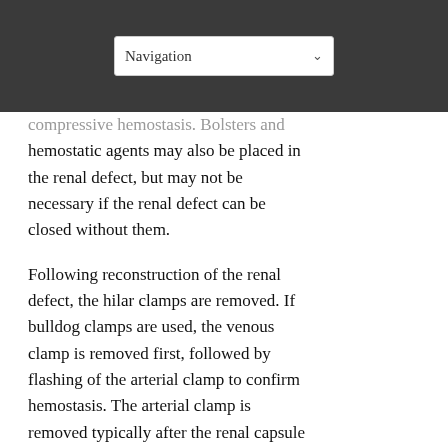Navigation
compressive hemostasis. Bolsters and hemostatic agents may also be placed in the renal defect, but may not be necessary if the renal defect can be closed without them.
Following reconstruction of the renal defect, the hilar clamps are removed. If bulldog clamps are used, the venous clamp is removed first, followed by flashing of the arterial clamp to confirm hemostasis. The arterial clamp is removed typically after the renal capsule is closed, but may be removed before closure of the renal capsule to ensure specific vessels are oversewn and to